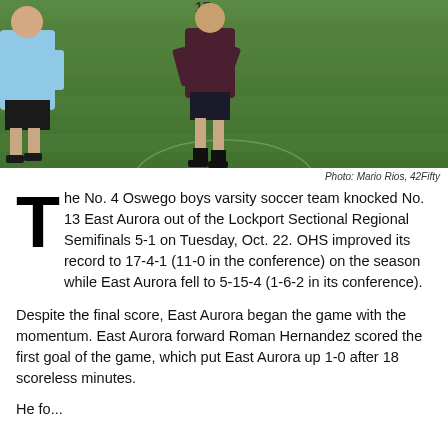[Figure (photo): Soccer players on a green grass field during a match. One player in a light blue uniform visible on the left, another player in dark uniform in the center-right area.]
Photo: Mario Rios, 42Fifty
The No. 4 Oswego boys varsity soccer team knocked No. 13 East Aurora out of the Lockport Sectional Regional Semifinals 5-1 on Tuesday, Oct. 22. OHS improved its record to 17-4-1 (11-0 in the conference) on the season while East Aurora fell to 5-15-4 (1-6-2 in its conference).
Despite the final score, East Aurora began the game with the momentum. East Aurora forward Roman Hernandez scored the first goal of the game, which put East Aurora up 1-0 after 18 scoreless minutes.